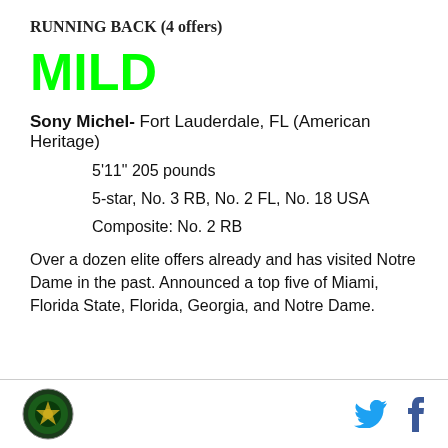RUNNING BACK (4 offers)
MILD
Sony Michel- Fort Lauderdale, FL (American Heritage)
5'11" 205 pounds
5-star, No. 3 RB, No. 2 FL, No. 18 USA
Composite: No. 2 RB
Over a dozen elite offers already and has visited Notre Dame in the past. Announced a top five of Miami, Florida State, Florida, Georgia, and Notre Dame.
[logo] [twitter] [facebook]